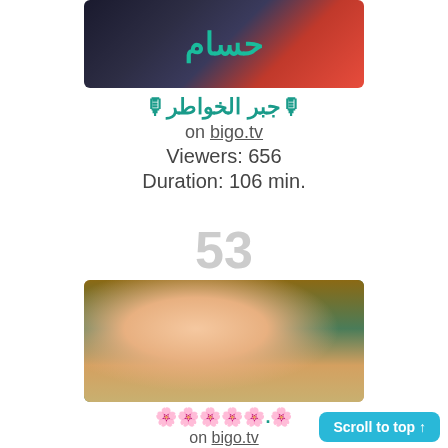[Figure (photo): Thumbnail image showing an Arabic streamer, dark background with Arabic text حسام in teal color]
🎙جبر الخواطر🎙
on bigo.tv
Viewers: 656
Duration: 106 min.
53
[Figure (photo): Photo of a young woman with blonde hair wearing a green shirt, making a peace sign, sitting in a cafe/restaurant setting]
🌸.🌸🌸🌸🌸🌸
on bigo.tv
Viewers: 653
Duration: 465 min.
Scroll to top ↑